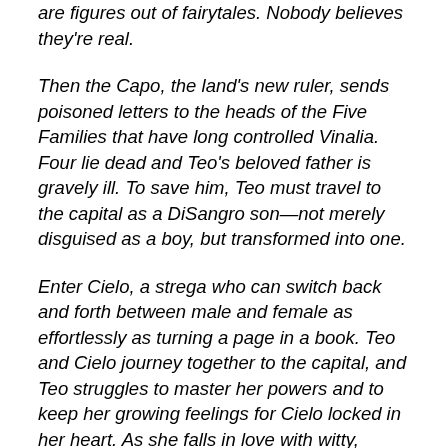are figures out of fairytales. Nobody believes they're real.
Then the Capo, the land's new ruler, sends poisoned letters to the heads of the Five Families that have long controlled Vinalia. Four lie dead and Teo's beloved father is gravely ill. To save him, Teo must travel to the capital as a DiSangro son—not merely disguised as a boy, but transformed into one.
Enter Cielo, a strega who can switch back and forth between male and female as effortlessly as turning a page in a book. Teo and Cielo journey together to the capital, and Teo struggles to master her powers and to keep her growing feelings for Cielo locked in her heart. As she falls in love with witty, irascible Cielo, Teo realizes how much of life she's missed by hiding her true nature. But she can't forget her mission, and the closer they get to the palace...